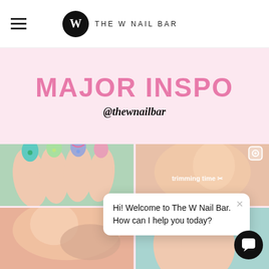THE W NAIL BAR
MAJOR INSPO
@thewnailbar
[Figure (photo): Colorful nail art with teal, green, pink, blue painted nails with floral designs]
[Figure (photo): Close-up of finger / nail trimming, with text overlay 'trimming time' and reel icon]
Hi! Welcome to The W Nail Bar. How can I help you today?
[Figure (photo): Close-up of nails/sunglasses]
[Figure (photo): Hand with painted nails (partial view)]
[Figure (photo): Teal/orange nails partial view bottom right]